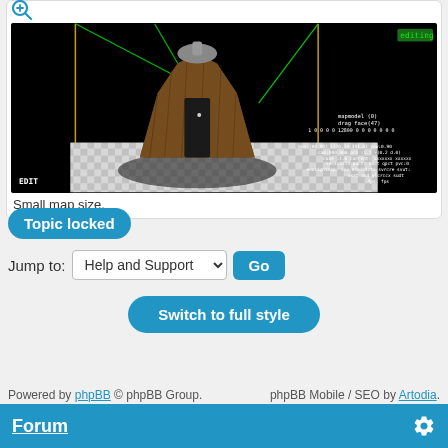[Figure (screenshot): 3D game map editor screenshot showing a large octagonal wooden tower/structure on a checkered floor, with green and yellow axis lines, 'editing' badge in top-right, EDIT label bottom-left, and various HUD debug text overlays.]
Small map size.
Topic locked
Jump to:  Help and Support  Go
Switch to full style
Powered by phpBB © phpBB Group.   phpBB Mobile / SEO by Artodia.
Forum